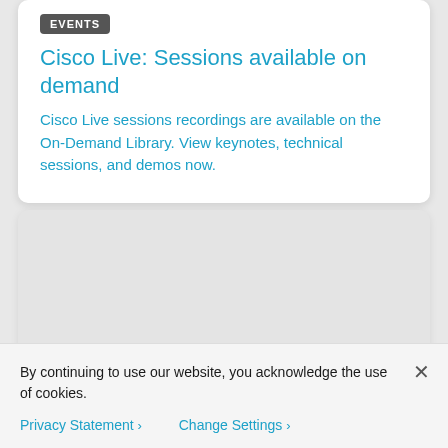EVENTS
Cisco Live: Sessions available on demand
Cisco Live sessions recordings are available on the On-Demand Library. View keynotes, technical sessions, and demos now.
[Figure (other): Empty gray card placeholder area]
By continuing to use our website, you acknowledge the use of cookies.
Privacy Statement ›   Change Settings ›